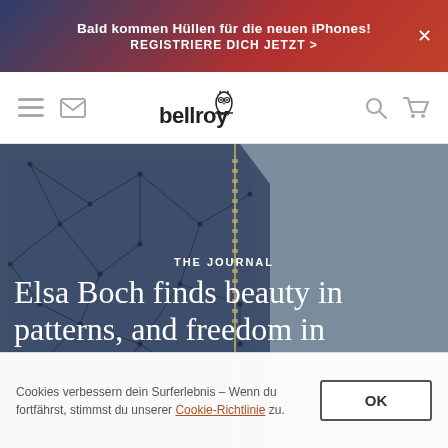Bald kommen Hüllen für die neuen iPhones! REGISTRIERE DICH JETZT >
[Figure (logo): Bellroy logo with owl icon and wordmark in navigation bar]
[Figure (photo): Close-up photo of a dark navy/slate leather wallet with geometric constellation line pattern and zipper, on a grey background. Overlaid text reads: THE JOURNAL — Elsa Boch finds beauty in patterns, and freedom in]
Cookies verbessern dein Surferlebnis – Wenn du fortfährst, stimmst du unserer Cookie-Richtlinie zu.